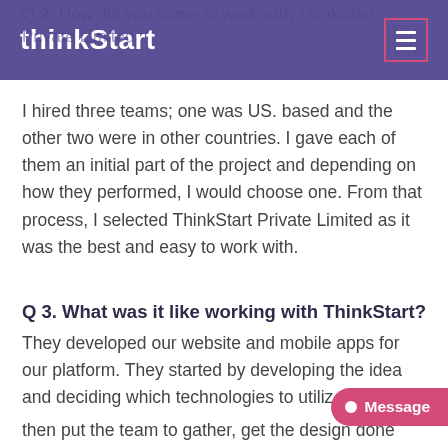Q 2. How did you come to work with ThinkStart Private Limited
thinkStart
I hired three teams; one was US. based and the other two were in other countries. I gave each of them an initial part of the project and depending on how they performed, I would choose one. From that process, I selected ThinkStart Private Limited as it was the best and easy to work with.
Q 3. What was it like working with ThinkStart?
They developed our website and mobile apps for our platform. They started by developing the idea and deciding which technologies to utilize, then put the team to gather, got the design done...